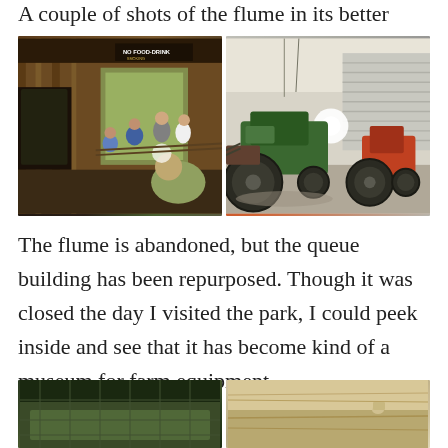A couple of shots of the flume in its better days.
[Figure (photo): Two side-by-side photos: left shows interior of queue building with people standing inside a wooden covered walkway; right shows old farm tractors (green and red/orange) stored inside a garage/barn with metal roll-up doors.]
The flume is abandoned, but the queue building has been repurposed. Though it was closed the day I visited the park, I could peek inside and see that it has become kind of a museum for farm equipment.
[Figure (photo): Two partially visible photos at bottom: left shows a green outdoor scene, right shows a wooden interior.]